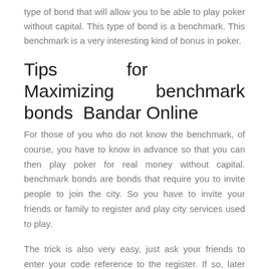type of bond that will allow you to be able to play poker without capital. This type of bond is a benchmark. This benchmark is a very interesting kind of bonus in poker.
Tips for Maximizing benchmark bonds Bandar Online
For those of you who do not know the benchmark, of course, you have to know in advance so that you can then play poker for real money without capital. benchmark bonds are bonds that require you to invite people to join the city. So you have to invite your friends or family to register and play city services used to play.
The trick is also very easy, just ask your friends to enter your code reference to the register. If so, later you will